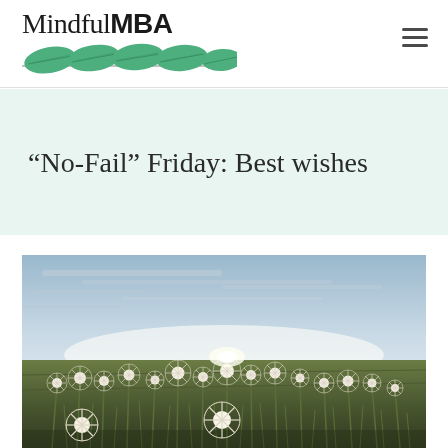MindfulMBA
“No-Fail” Friday: Best wishes
[Figure (photo): A wide-angle photograph of a field of dandelions gone to seed (white fluffy seed heads) with a bright, overcast sky in the background and golden-hour light near the horizon.]